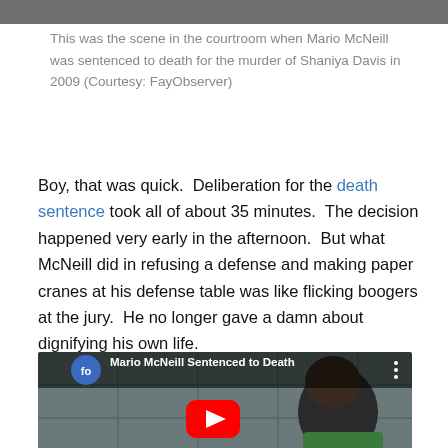[Figure (screenshot): Top portion of a courtroom scene image, cropped showing the top edge only]
This was the scene in the courtroom when Mario McNeill was sentenced to death for the murder of Shaniya Davis in 2009 (Courtesy: FayObserver)
Boy, that was quick. Deliberation for the death sentence took all of about 35 minutes. The decision happened very early in the afternoon. But what McNeill did in refusing a defense and making paper cranes at his defense table was like flicking boogers at the jury. He no longer gave a damn about dignifying his own life.
[Figure (screenshot): YouTube video thumbnail showing Mario McNeill Sentenced to Death, with FayObserver logo, video title, and YouTube play button overlay on a video still of a person in a green shirt]